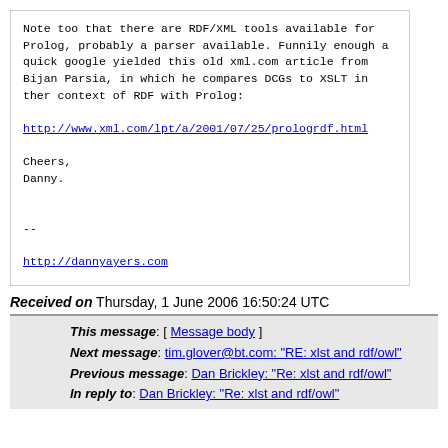Note too that there are RDF/XML tools available for Prolog, probably a parser available. Funnily enough a quick google yielded this old xml.com article from Bijan Parsia, in which he compares DCGs to XSLT in ther context of RDF with Prolog:

http://www.xml.com/lpt/a/2001/07/25/prologrdf.html

Cheers,
Danny.


--

http://dannyayers.com
Received on Thursday, 1 June 2006 16:50:24 UTC
This message: [ Message body ]
Next message: tim.glover@bt.com: "RE: xlst and rdf/owl"
Previous message: Dan Brickley: "Re: xlst and rdf/owl"
In reply to: Dan Brickley: "Re: xlst and rdf/owl"